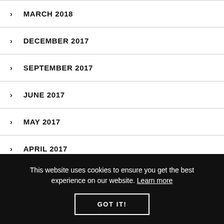MARCH 2018
DECEMBER 2017
SEPTEMBER 2017
JUNE 2017
MAY 2017
APRIL 2017
This website uses cookies to ensure you get the best experience on our website. Learn more
GOT IT!